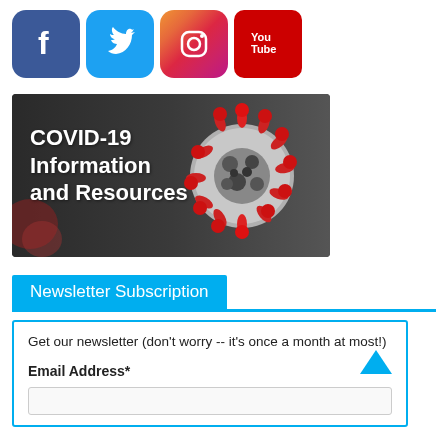[Figure (logo): Row of four social media icons: Facebook (blue rounded square with white f), Twitter (light blue rounded square with white bird), Instagram (gradient rounded square with camera icon), YouTube (red rounded square with You Tube text)]
[Figure (photo): COVID-19 Information and Resources banner showing white bold text on dark background with a 3D rendered coronavirus particle image on the right side]
Newsletter Subscription
Get our newsletter (don't worry -- it's once a month at most!)
Email Address*